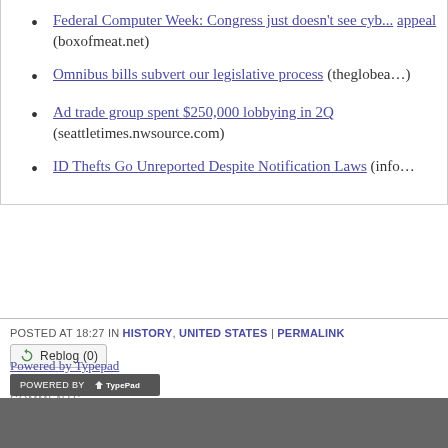Federal Computer Week: Congress just doesn't see cyb... appeal (boxofmeat.net)
Omnibus bills subvert our legislative process (theglobea...)
Ad trade group spent $250,000 lobbying in 2Q (seattletimes.nwsource.com)
ID Thefts Go Unreported Despite Notification Laws (info...
POSTED AT 18:27 IN HISTORY, UNITED STATES | PERMALINK
Reblog (0)
COMMENTS
Comments on this post are closed.
[Figure (logo): Powered by TypePad badge]
Powered by Typepad